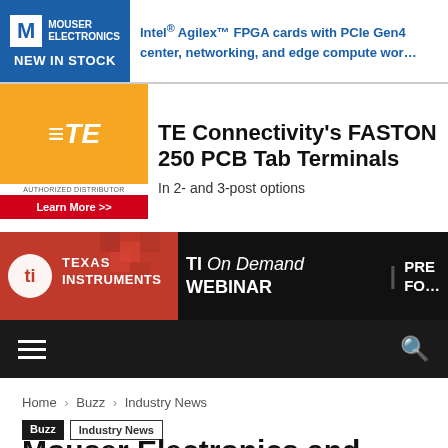[Figure (other): Mouser Electronics banner ad - Intel Agilex FPGA cards with PCIe Gen4, NEW IN STOCK]
[Figure (other): TE Connectivity FASTON 250 PCB Tab Terminals banner ad - In 2- and 3-post options, Learn More]
[Figure (other): Texas Instruments TI On Demand Webinar banner ad]
[Figure (other): Website navigation bar with hamburger menu and search icon]
Home › Buzz › Industry News
Buzz  Industry News
Mouser Electronics and